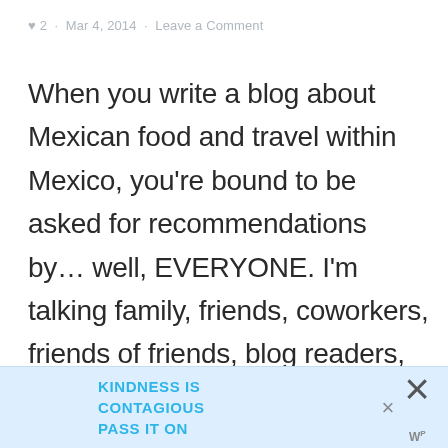♥ 2 · Mar 4, 2014 · Leave a Comment
When you write a blog about Mexican food and travel within Mexico, you're bound to be asked for recommendations by… well, EVERYONE. I'm talking family, friends, coworkers, friends of friends, blog readers, complete strangers—it really runs the gamut. But it's a true source of
KINDNESS IS CONTAGIOUS PASS IT ON